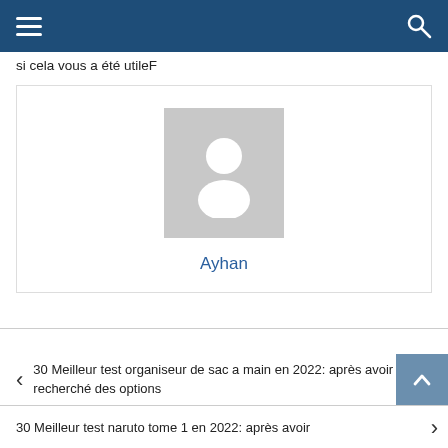Navigation bar with hamburger menu and search icon
si cela vous a été utileF
[Figure (illustration): Author profile card with a generic gray avatar placeholder icon and the name Ayhan displayed in blue below it]
Ayhan
30 Meilleur test organiseur de sac a main en 2022: après avoir recherché des options
30 Meilleur test naruto tome 1 en 2022: après avoir